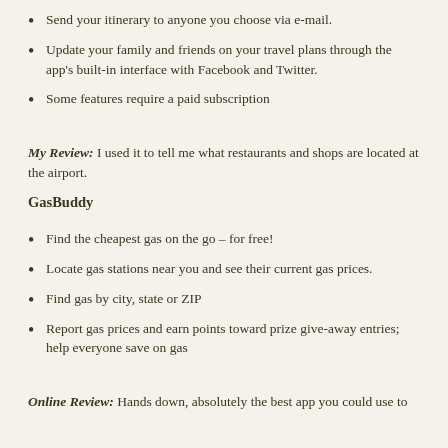Send your itinerary to anyone you choose via e-mail.
Update your family and friends on your travel plans through the app's built-in interface with Facebook and Twitter.
Some features require a paid subscription
My Review: I used it to tell me what restaurants and shops are located at the airport.
GasBuddy
Find the cheapest gas on the go – for free!
Locate gas stations near you and see their current gas prices.
Find gas by city, state or ZIP
Report gas prices and earn points toward prize give-away entries; help everyone save on gas
Online Review: Hands down, absolutely the best app you could use to